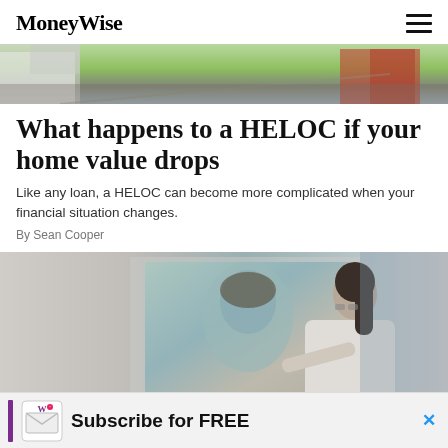MoneyWise
[Figure (photo): Aerial view of a suburban residential street with houses, driveways, and trees]
What happens to a HELOC if your home value drops
Like any loan, a HELOC can become more complicated when your financial situation changes.
By Sean Cooper
[Figure (photo): Woman with glasses and ponytail viewed from behind, hanging or adjusting a large painting/artwork on a wall in a bright room]
Subscribe for FREE